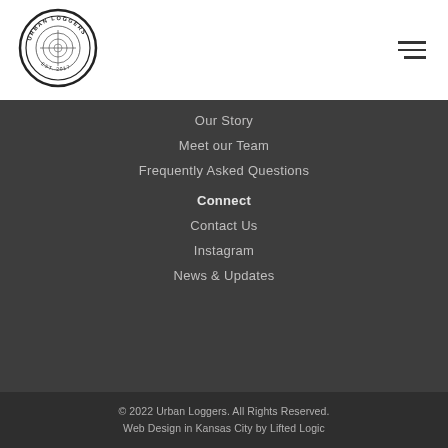[Figure (logo): Urban Loggers circular badge logo, EST. 2017, with wood grain/saw imagery]
Our Story
Meet our Team
Frequently Asked Questions
Connect
Contact Us
Instagram
News & Updates
© 2022 Urban Loggers. All Rights Reserved.
Web Design in Kansas City by Lifted Logic